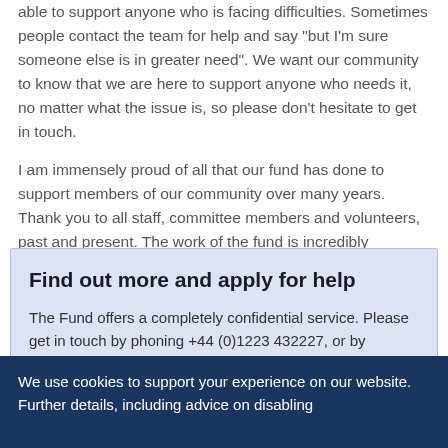able to support anyone who is facing difficulties. Sometimes people contact the team for help and say "but I'm sure someone else is in greater need". We want our community to know that we are here to support anyone who needs it, no matter what the issue is, so please don't hesitate to get in touch.
I am immensely proud of all that our fund has done to support members of our community over many years. Thank you to all staff, committee members and volunteers, past and present. The work of the fund is incredibly important and it exists to support you and those you care about.
Find out more and apply for help
The Fund offers a completely confidential service. Please get in touch by phoning +44 (0)1223 432227, or by emailing us.
Or learn more on our webpage.
We use cookies to support your experience on our website. Further details, including advice on disabling